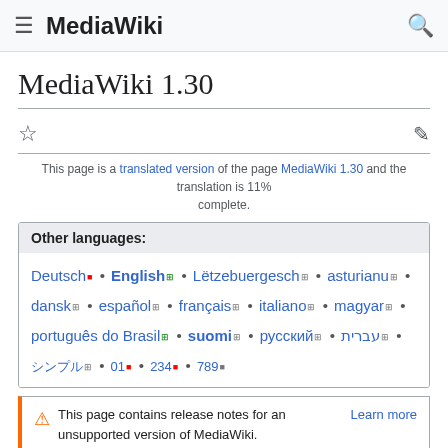MediaWiki
MediaWiki 1.30
This page is a translated version of the page MediaWiki 1.30 and the translation is 11% complete.
Other languages: Deutsch • English • Lëtzebuergesch • asturianu • dansk • español • français • italiano • magyar • português do Brasil • suomi • русский • עברית • [non-latin scripts]
This page contains release notes for an unsupported version of MediaWiki. Learn more
MediaWiki 1.30 is a major update release of MediaWiki...